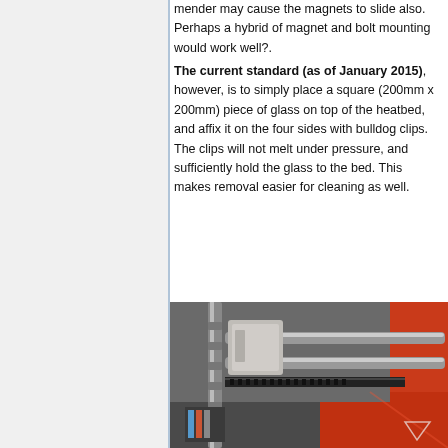mender may cause the magnets to slide also. Perhaps a hybrid of magnet and bolt mounting would work well?.
The current standard (as of January 2015), however, is to simply place a square (200mm x 200mm) piece of glass on top of the heatbed, and affix it on the four sides with bulldog clips. The clips will not melt under pressure, and sufficiently hold the glass to the bed. This makes removal easier for cleaning as well.
[Figure (photo): Close-up photo of a 3D printer showing metal rods, a gray plastic bracket/clip component, black belt, and red frame components.]